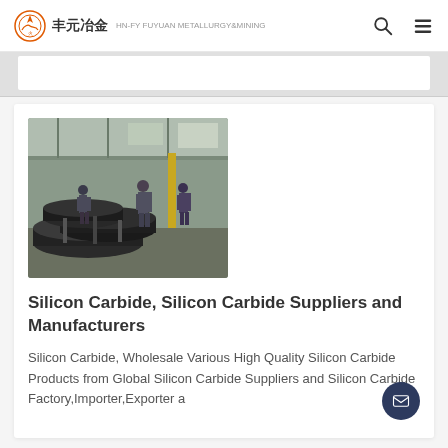丰元冶金
[Figure (photo): Industrial warehouse photo showing workers handling large graphite/carbon electrode rods on a factory floor]
Silicon Carbide, Silicon Carbide Suppliers and Manufacturers
Silicon Carbide, Wholesale Various High Quality Silicon Carbide Products from Global Silicon Carbide Suppliers and Silicon Carbide Factory,Importer,Exporter a